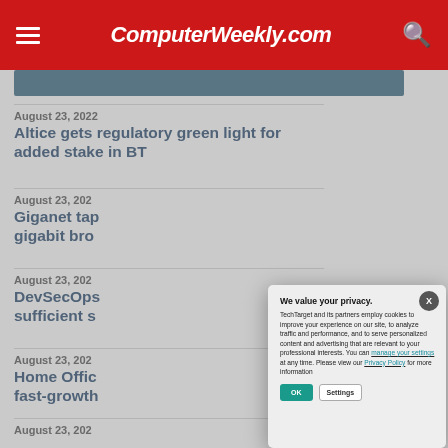ComputerWeekly.com
August 23, 2022
Altice gets regulatory green light for added stake in BT
August 23, 202
Giganet tap gigabit bro
August 23, 202
DevSecOps sufficient s
August 23, 202
Home Offic fast-growth
August 23, 202
[Figure (screenshot): Cookie/privacy consent modal dialog overlay on ComputerWeekly.com page. Title: 'We value your privacy.' Body text: 'TechTarget and its partners employ cookies to improve your experience on our site, to analyze traffic and performance, and to serve personalized content and advertising that are relevant to your professional interests. You can manage your settings at any time. Please view our Privacy Policy for more information'. Buttons: OK (teal), Settings (outlined).]